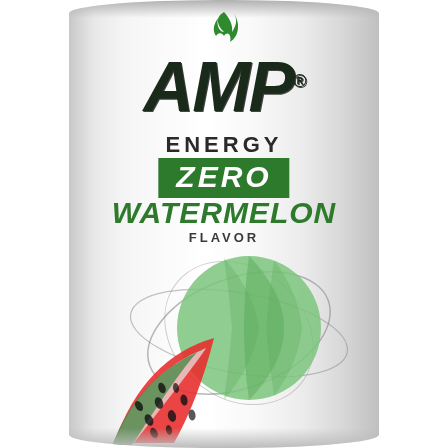[Figure (photo): AMP Energy Zero Watermelon Flavor energy drink can. The can is silver/white with a green flame logo at the top. The brand name AMP is displayed in large bold italic dark letters with a registered trademark symbol. Below that is ENERGY in dark letters, then ZERO in white letters on a green background rectangle, then WATERMELON in large green italic letters, and FLAVOR in smaller dark letters. The lower portion of the can features an illustration of a watermelon slice (red with black seeds) and a whole green watermelon with swirling orbital lines around it.]